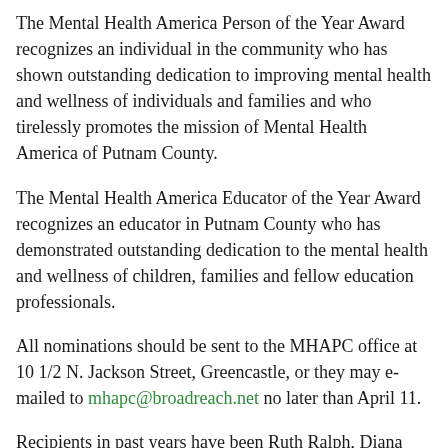The Mental Health America Person of the Year Award recognizes an individual in the community who has shown outstanding dedication to improving mental health and wellness of individuals and families and who tirelessly promotes the mission of Mental Health America of Putnam County.
The Mental Health America Educator of the Year Award recognizes an educator in Putnam County who has demonstrated outstanding dedication to the mental health and wellness of children, families and fellow education professionals.
All nominations should be sent to the MHAPC office at 10 1/2 N. Jackson Street, Greencastle, or they may e-mailed to mhapc@broadreach.net no later than April 11.
Recipients in past years have been Ruth Ralph, Diana LaViolette, Charity Pankratz and Sue Murray for Person of the Year; and Robert Harbison, Marti Jackson, Becky Brothers and Dan TeGrotenhuis for Educator of the Year.
The awards will be presented at the May Annual Meeting at...